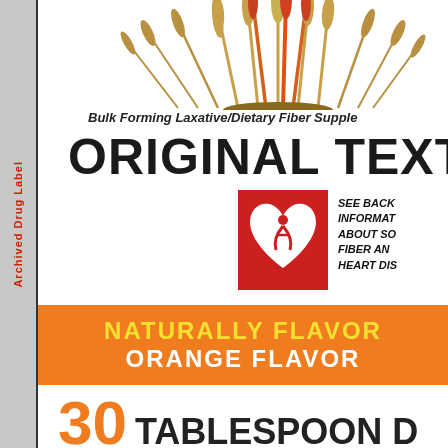Archived Drug Label
[Figure (illustration): Wheat sheaf illustration with orange and red colored wheat stalks at the top of the label]
Bulk Forming Laxative/Dietary Fiber Supplement
ORIGINAL TEXTURE
[Figure (logo): Red square logo with white heart and figure design]
SEE BACK INFORMATION ABOUT SOLUBLE FIBER AND HEART DISEASE
NATURALLY FLAVORED
ORANGE FLAVOR
30 TABLESPOON DOSES